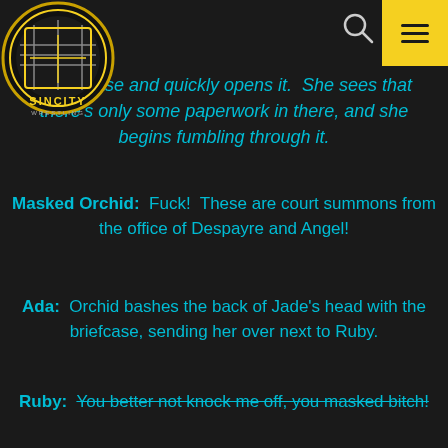[Figure (logo): Sin City Wrestling circular logo with gold ring design]
e briefcase and quickly opens it. She sees that there's only some paperwork in there, and she begins fumbling through it.
Masked Orchid: Fuck! These are court summons from the office of Despayre and Angel!
Ada: Orchid bashes the back of Jade's head with the briefcase, sending her over next to Ruby.
Ruby: You better not knock me off, you masked bitch!